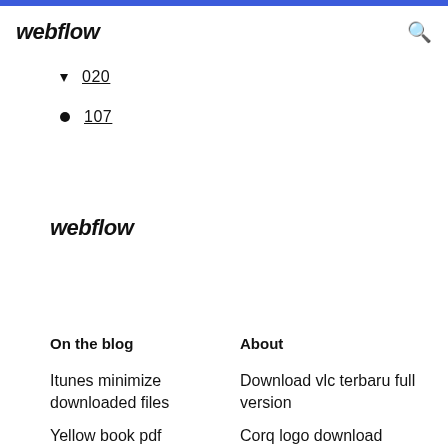webflow
020
107
webflow
On the blog
About
Itunes minimize downloaded files
Download vlc terbaru full version
Yellow book pdf download
Corq logo download